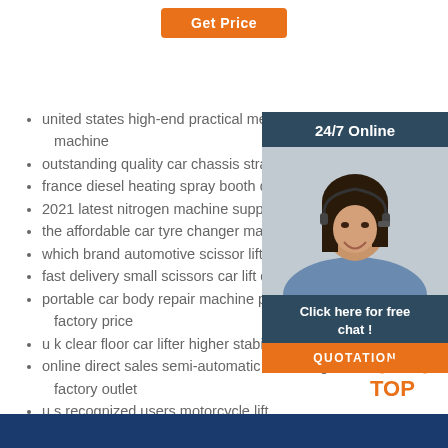Get Price
united states high-end practical measurement machine
outstanding quality car chassis straightening s
france diesel heating spray booth direct manut
2021 latest nitrogen machine supplier
the affordable car tyre changer manufacturer
which brand automotive scissor lift superior qu
fast delivery small scissors car lift distributor
portable car body repair machine popular mark factory price
u k clear floor car lifter higher stability factory d
online direct sales semi-automatic tire changer machine factory outlet
u s recognized users motorcycle lift
high customer reviews parking garage lifter wholesaler
[Figure (photo): Customer service representative with headset, smiling, with 24/7 Online banner and chat/quotation widget]